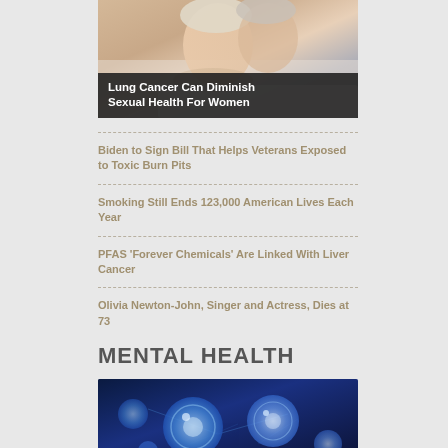[Figure (photo): Photo of elderly couple lying down, related to lung cancer and sexual health article]
Lung Cancer Can Diminish Sexual Health For Women
Biden to Sign Bill That Helps Veterans Exposed to Toxic Burn Pits
Smoking Still Ends 123,000 American Lives Each Year
PFAS 'Forever Chemicals' Are Linked With Liver Cancer
Olivia Newton-John, Singer and Actress, Dies at 73
MENTAL HEALTH
[Figure (photo): Blue-toned microscopic/scientific image showing cells or molecules, related to mental health section]